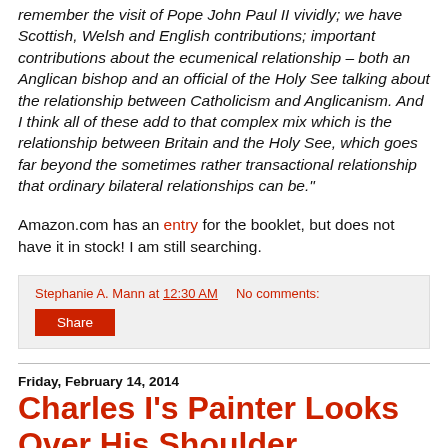remember the visit of Pope John Paul II vividly; we have Scottish, Welsh and English contributions; important contributions about the ecumenical relationship – both an Anglican bishop and an official of the Holy See talking about the relationship between Catholicism and Anglicanism. And I think all of these add to that complex mix which is the relationship between Britain and the Holy See, which goes far beyond the sometimes rather transactional relationship that ordinary bilateral relationships can be."
Amazon.com has an entry for the booklet, but does not have it in stock! I am still searching.
Stephanie A. Mann at 12:30 AM    No comments:
Share
Friday, February 14, 2014
Charles I's Painter Looks Over His Shoulder